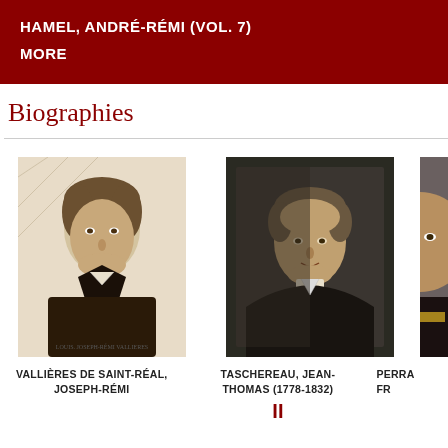HAMEL, ANDRÉ-RÉMI (VOL. 7)
MORE
Biographies
[Figure (photo): Portrait engraving of Vallières de Saint-Réal, Joseph-Rémi, a young man in early 19th century attire]
VALLIÈRES DE SAINT-RÉAL, JOSEPH-RÉMI
[Figure (photo): Portrait painting of Taschereau, Jean-Thomas (1778-1832), a man in dark coat with white cravat]
TASCHEREAU, JEAN-THOMAS (1778-1832)
[Figure (photo): Partial portrait painting of a third biography subject, cropped at right edge]